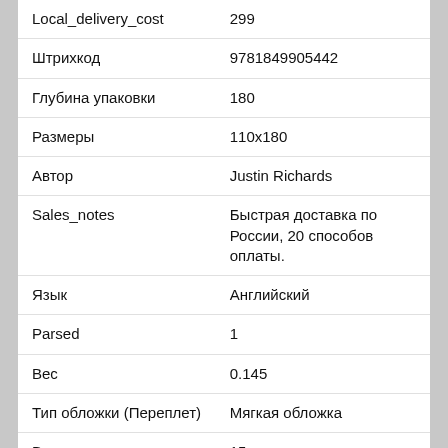| Attribute | Value |
| --- | --- |
| Local_delivery_cost | 299 |
| Штрихкод | 9781849905442 |
| Глубина упаковки | 180 |
| Размеры | 110x180 |
| Автор | Justin Richards |
| Sales_notes | Быстрая доставка по России, 20 способов оплаты. |
| Язык | Английский |
| Parsed | 1 |
| Вес | 0.145 |
| Тип обложки (Переплет) | Мягкая обложка |
| Высота упаковки | 15 |
| Тип обложки | Мягкая обложка |
| Возраст | 18+ |
| Ширина упаковки | 110 |
| Oldprice | 649 |
| Кол-во страниц | 256 |
| Pickup | true |